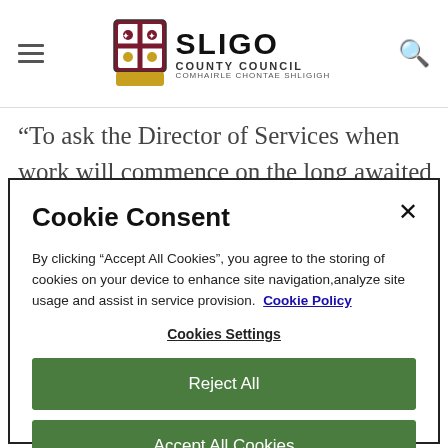[Figure (logo): Sligo County Council logo with heraldic crest and text: SLIGO COUNTY COUNCIL, Comhairle Chontae Shligigh]
“To ask the Director of Services when work will commence on the long awaited new waste water treatment
Cookie Consent
By clicking “Accept All Cookies”, you agree to the storing of cookies on your device to enhance site navigation,analyze site usage and assist in service provision.  Cookie Policy
Cookies Settings
Reject All
Accept All Cookies